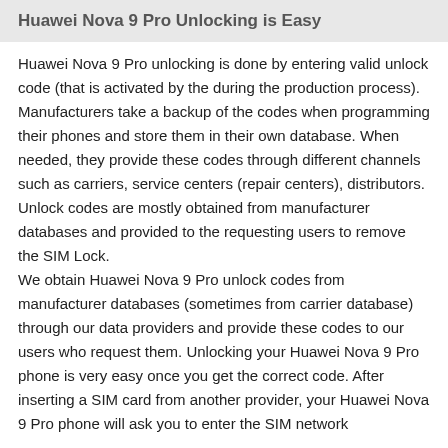Huawei Nova 9 Pro Unlocking is Easy
Huawei Nova 9 Pro unlocking is done by entering valid unlock code (that is activated by the during the production process). Manufacturers take a backup of the codes when programming their phones and store them in their own database. When needed, they provide these codes through different channels such as carriers, service centers (repair centers), distributors. Unlock codes are mostly obtained from manufacturer databases and provided to the requesting users to remove the SIM Lock.
We obtain Huawei Nova 9 Pro unlock codes from manufacturer databases (sometimes from carrier database) through our data providers and provide these codes to our users who request them. Unlocking your Huawei Nova 9 Pro phone is very easy once you get the correct code. After inserting a SIM card from another provider, your Huawei Nova 9 Pro phone will ask you to enter the SIM network Unlock code. You can enter the code simply and